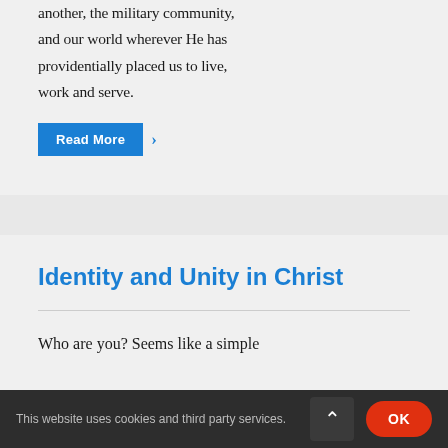another, the military community, and our world wherever He has providentially placed us to live, work and serve.
Read More >
Identity and Unity in Christ
Who are you? Seems like a simple
This website uses cookies and third party services.